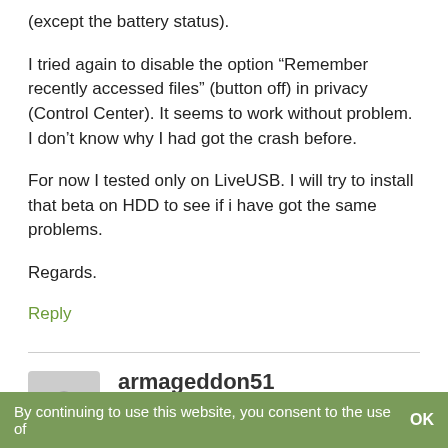(except the battery status).
I tried again to disable the option “Remember recently accessed files” (button off) in privacy (Control Center). It seems to work without problem. I don’t know why I had got the crash before.
For now I tested only on LiveUSB. I will try to install that beta on HDD to see if i have got the same problems.
Regards.
Reply
armageddon51
November 20, 2015 at 2:12 pm
By continuing to use this website, you consent to the use of    OK